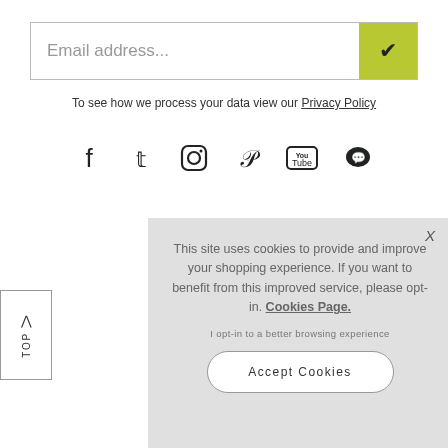[Figure (screenshot): Email address input field with yellow-green checkmark submit button]
To see how we process your data view our Privacy Policy
[Figure (infographic): Social media icons: Facebook, Twitter, Instagram, Pinterest, YouTube, Chat]
This site uses cookies to provide and improve your shopping experience. If you want to benefit from this improved service, please opt-in. Cookies Page.
I opt-in to a better browsing experience
Accept Cookies
TOP